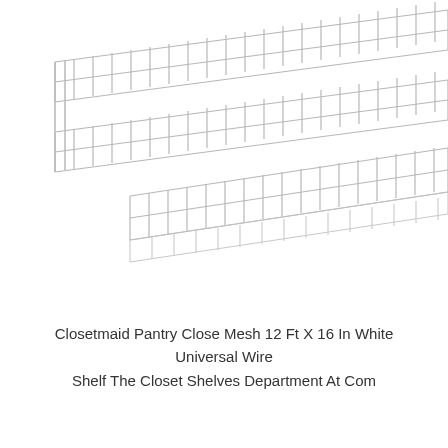[Figure (photo): A perspective/isometric view of a white wire mesh closet shelf unit showing multiple horizontal wire shelves stacked in a close-mesh grid pattern. The shelves are shown at an angle revealing the depth and front lip of the wire shelving system.]
Closetmaid Pantry Close Mesh 12 Ft X 16 In White Universal Wire Shelf The Closet Shelves Department At Com